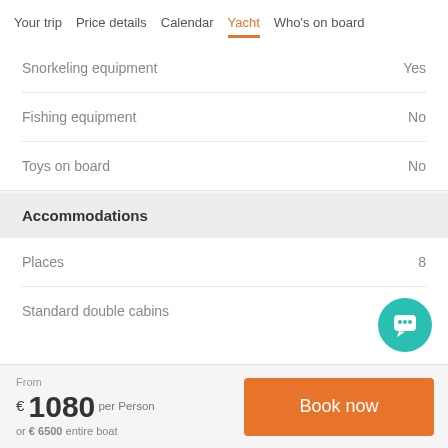Your trip | Price details | Calendar | Yacht | Who's on board
| Snorkeling equipment | Yes |
| Fishing equipment | No |
| Toys on board | No |
Accommodations
| Places | 8 |
| Standard double cabins |  |
From € 1080 per Person or € 6500 entire boat
Book now